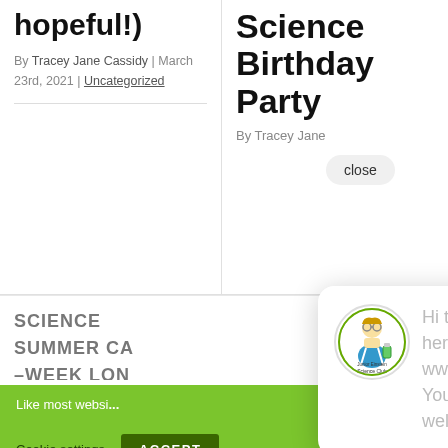hopeful!)
By Tracey Jane Cassidy | March 23rd, 2021 | Uncategorized
Science Birthday Party
By Tracey Jane
close
SCIENCE SUMMER CA... -WEEK LON... STEM CAMP... FOR KIDS 2...
We are opti...
Hi there, have a question? Text us here or find details on our website www.junioreinsteinscienceclub... You can also Email us directly on welcome@junioreinsteinssc...
Like most websi... according to our p... feel free to disable cookies in your browser.
Cookie settings
ACCEPT